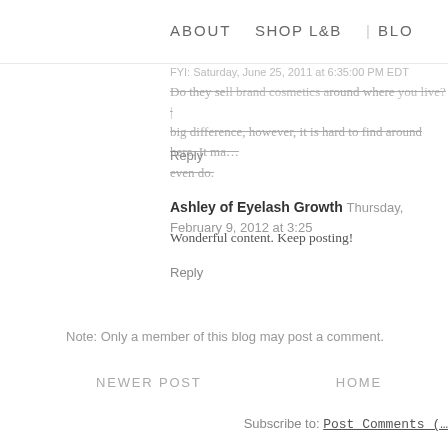ABOUT   SHOP L&B   BLOG
FYI: Saturday, June 25, 2011 at 6:35:00 PM EDT
Do they sell brand cosmetics around where you live? | big difference, however, it is hard to find around here. It ma… even do.
Reply
Ashley of Eyelash Growth  Thursday, February 9, 2012 at 3:25
Wonderful content. Keep posting!
Reply
Note: Only a member of this blog may post a comment.
NEWER POST   HOME
Subscribe to: Post Comments (…)